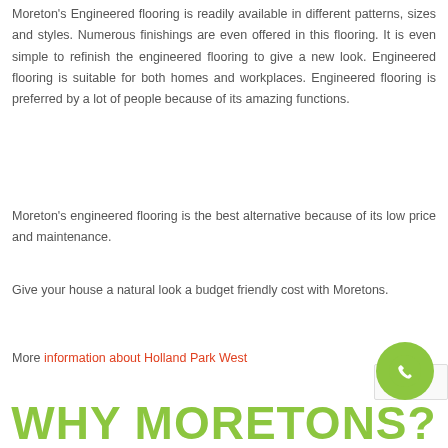Moreton's Engineered flooring is readily available in different patterns, sizes and styles. Numerous finishings are even offered in this flooring. It is even simple to refinish the engineered flooring to give a new look. Engineered flooring is suitable for both homes and workplaces. Engineered flooring is preferred by a lot of people because of its amazing functions.
Moreton's engineered flooring is the best alternative because of its low price and maintenance.
Give your house a natural look a budget friendly cost with Moretons.
More information about Holland Park West
WHY MORETONS?